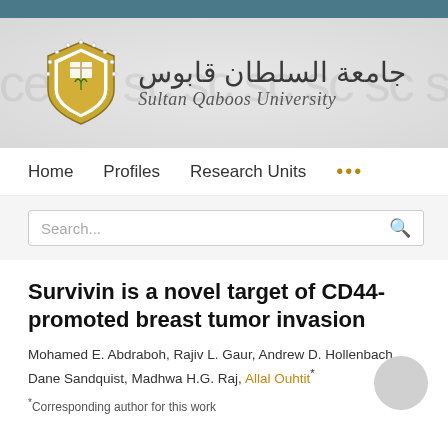[Figure (logo): Sultan Qaboos University logo with shield emblem and university name in Arabic and English]
Home   Profiles   Research Units   ...
Search...
Survivin is a novel target of CD44-promoted breast tumor invasion
Mohamed E. Abdraboh, Rajiv L. Gaur, Andrew D. Hollenbach, Dane Sandquist, Madhwa H.G. Raj, Allal Ouhtit*
*Corresponding author for this work